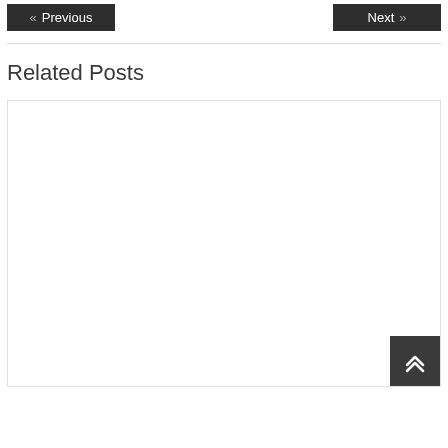« Previous   Next »
Related Posts
[Figure (other): Empty related posts card area with a back-to-top button in the bottom-right corner]